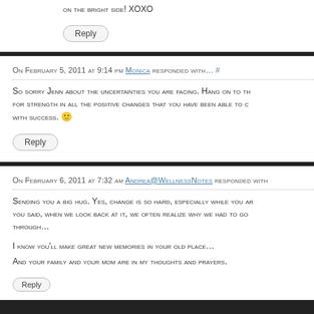on the bright side! XOXO
Reply
On February 5, 2011 at 9:14 pm Monica responded with... #
So sorry Jenn about the uncertainties you are facing. Hang on to the for strength in all the positive changes that you have been able to c with success. 🙂
Reply
On February 6, 2011 at 7:32 am Andrea@WellnessNotes responded with
Sending you a big hug. Yes, change is so hard, especially while you ar you said, when we look back at it, we often realize why we had to go through...
I know you'll make great new memories in your old place...
And your family and your mom are in my thoughts and prayers.
Reply